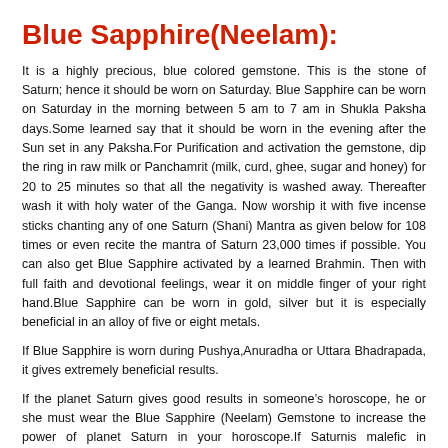Blue Sapphire(Neelam):
It is a highly precious, blue colored gemstone. This is the stone of Saturn; hence it should be worn on Saturday. Blue Sapphire can be worn on Saturday in the morning between 5 am to 7 am in Shukla Paksha days.Some learned say that it should be worn in the evening after the Sun set in any Paksha.For Purification and activation the gemstone, dip the ring in raw milk or Panchamrit (milk, curd, ghee, sugar and honey) for 20 to 25 minutes so that all the negativity is washed away. Thereafter wash it with holy water of the Ganga. Now worship it with five incense sticks chanting any of one Saturn (Shani) Mantra as given below for 108 times or even recite the mantra of Saturn 23,000 times if possible. You can also get Blue Sapphire activated by a learned Brahmin. Then with full faith and devotional feelings, wear it on middle finger of your right hand.Blue Sapphire can be worn in gold, silver but it is especially beneficial in an alloy of five or eight metals.
If Blue Sapphire is worn during Pushya,Anuradha or Uttara Bhadrapada, it gives extremely beneficial results.
If the planet Saturn gives good results in someone’s horoscope, he or she must wear the Blue Sapphire (Neelam) Gemstone to increase the power of planet Saturn in your horoscope.If Saturnis malefic in horoscope should never wear Blue Sapphire, infact he/she must do